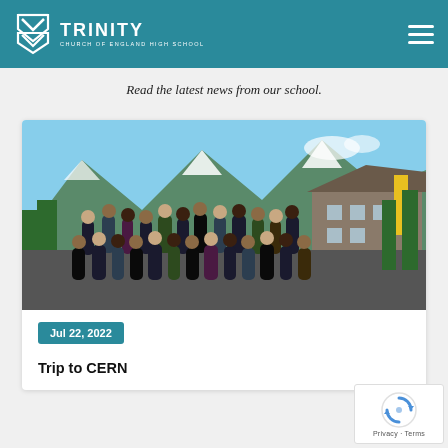TRINITY CHURCH OF ENGLAND HIGH SCHOOL
Read the latest news from our school.
[Figure (photo): Group photo of school students standing and sitting outdoors in front of Alpine mountains and a chalet-style building, taken at Chamonix/CERN trip area.]
Jul 22, 2022
Trip to CERN